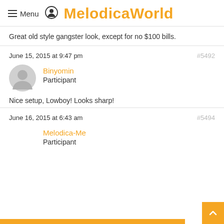Menu MelodicaWorld
Great old style gangster look, except for no $100 bills.
June 15, 2015 at 9:47 pm #5492
Binyomin
Participant
Nice setup, Lowboy! Looks sharp!
June 16, 2015 at 6:43 am #5494
Melodica-Me
Participant